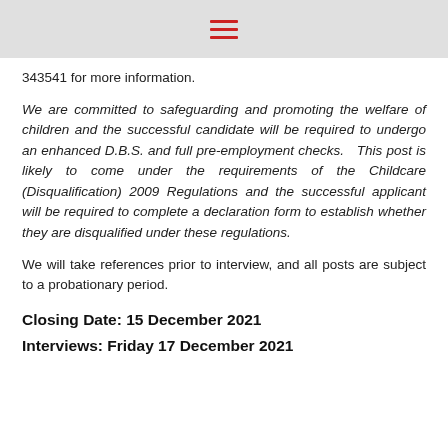≡
343541 for more information.
We are committed to safeguarding and promoting the welfare of children and the successful candidate will be required to undergo an enhanced D.B.S. and full pre-employment checks.  This post is likely to come under the requirements of the Childcare (Disqualification) 2009 Regulations and the successful applicant will be required to complete a declaration form to establish whether they are disqualified under these regulations.
We will take references prior to interview, and all posts are subject to a probationary period.
Closing Date: 15 December 2021
Interviews: Friday 17 December 2021